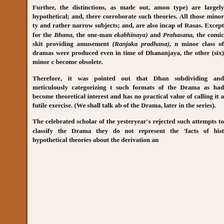Further, the distinctions, as made out, among type) are largely hypothetical; and, there corroborate such theories. All those minor ty and rather narrow subjects; and, are also inca of Rasas. Except for the Bhana, the one-man ekabhinaya) and Prahasana, the comic skit providing amusement (Ranjaka pradhana), no minor class of dramas were produced even in time of Dhananjaya, the other (six) minor c become obsolete.
Therefore, it was pointed out that Dha subdividing and meticulously categorizing t such formats of the Drama as had become theoretical interest and has no practical value of calling it a futile exercise. (We shall talk ab of the Drama, later in the series).
The celebrated scholar of the yesteryear's rejected such attempts to classify the Drama they do not represent the 'facts of hist hypothetical theories about the derivation an